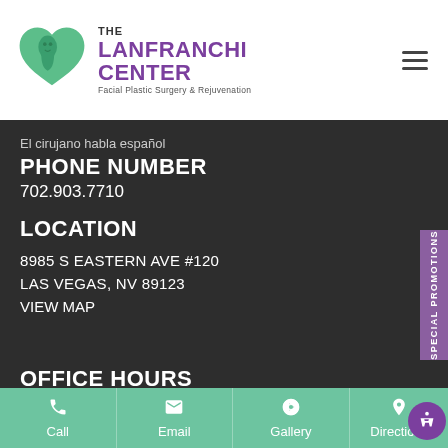[Figure (logo): The Lanfranchi Center logo with green heart shape containing face silhouette, purple text reading THE LANFRANCHI CENTER, subtitle Facial Plastic Surgery & Rejuvenation]
El cirujano habla español
PHONE NUMBER
702.903.7710
LOCATION
8985 S EASTERN AVE #120
LAS VEGAS, NV 89123
VIEW MAP
OFFICE HOURS
SPECIAL PROMOTIONS
Call  Email  Gallery  Directio...